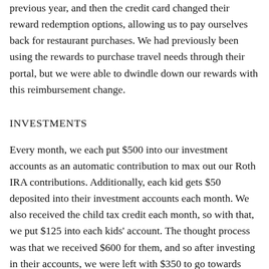previous year, and then the credit card changed their reward redemption options, allowing us to pay ourselves back for restaurant purchases. We had previously been using the rewards to purchase travel needs through their portal, but we were able to dwindle down our rewards with this reimbursement change.
INVESTMENTS
Every month, we each put $500 into our investment accounts as an automatic contribution to max out our Roth IRA contributions. Additionally, each kid gets $50 deposited into their investment accounts each month. We also received the child tax credit each month, so with that, we put $125 into each kids' account. The thought process was that we received $600 for them, and so after investing in their accounts, we were left with $350 to go towards